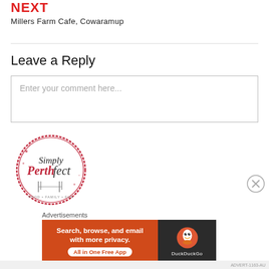NEXT
Millers Farm Cafe, Cowaramup
Leave a Reply
Enter your comment here...
[Figure (logo): Simply Perthfect circular logo with fork and knife, tagline FOOD • FAMILY • FUN]
Advertisements
[Figure (screenshot): DuckDuckGo advertisement banner: Search, browse, and email with more privacy. All in One Free App]